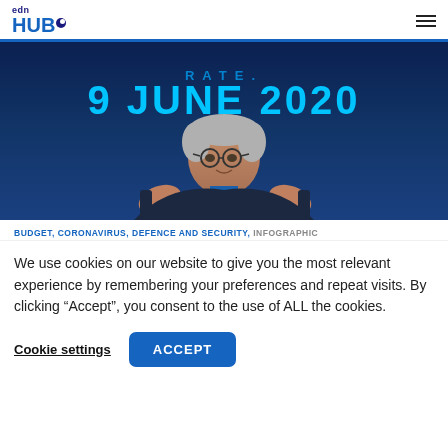edn HUB
[Figure (photo): Man speaking at a podium against a blue background displaying '9 JUNE 2020' in large cyan text. The speaker is an older man with grey hair, glasses, and a dark jacket, gesturing with both hands.]
BUDGET, CORONAVIRUS, DEFENCE AND SECURITY, INFOGRAPHIC
We use cookies on our website to give you the most relevant experience by remembering your preferences and repeat visits. By clicking “Accept”, you consent to the use of ALL the cookies.
Cookie settings  ACCEPT